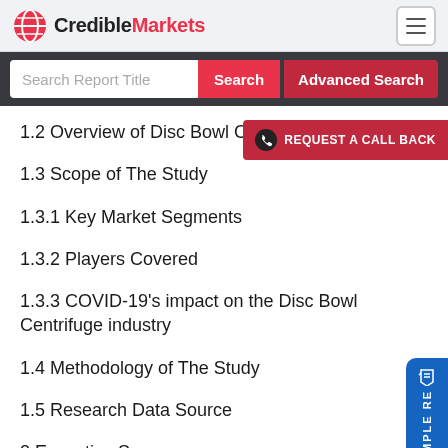CredibleMarkets
1.2 Overview of Disc Bowl Centrifuge
1.3 Scope of The Study
1.3.1 Key Market Segments
1.3.2 Players Covered
1.3.3 COVID-19's impact on the Disc Bowl Centrifuge industry
1.4 Methodology of The Study
1.5 Research Data Source
2 Executive Summary